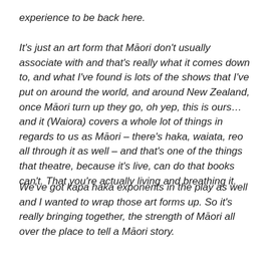experience to be back here.
It's just an art form that Māori don't usually associate with and that's really what it comes down to, and what I've found is lots of the shows that I've put on around the world, and around New Zealand, once Māori turn up they go, oh yep, this is ours… and it (Waiora) covers a whole lot of things in regards to us as Māori – there's haka, waiata, reo all through it as well – and that's one of the things that theatre, because it's live, can do that books can't. That you're actually living and breathing it.
We've got kapa haka exponents in the play as well and I wanted to wrap those art forms up. So it's really bringing together, the strength of Māori all over the place to tell a Māori story.